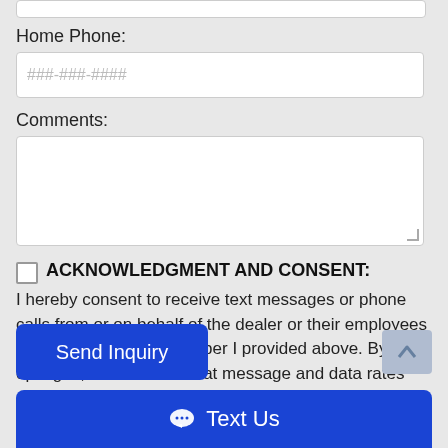Home Phone:
###-###-####
Comments:
ACKNOWLEDGMENT AND CONSENT: I hereby consent to receive text messages or phone calls from or on behalf of the dealer or their employees to the mobile phone number I provided above. By opting in, I understand that message and data rates may apply. This acknowledgement
Send Inquiry
Text Us